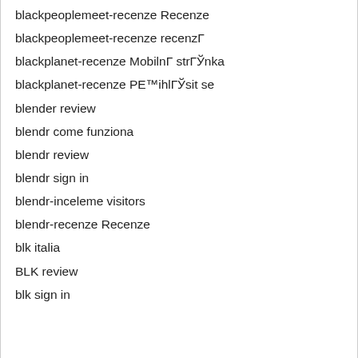blackpeoplemeet-recenze Recenze
blackpeoplemeet-recenze recenzГ
blackplanet-recenze MobilnГ strГЎnka
blackplanet-recenze РЕ™ihlГЎsit se
blender review
blendr come funziona
blendr review
blendr sign in
blendr-inceleme visitors
blendr-recenze Recenze
blk italia
BLK review
blk sign in